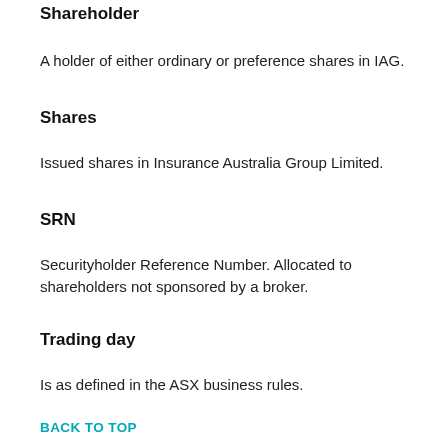Shareholder
A holder of either ordinary or preference shares in IAG.
Shares
Issued shares in Insurance Australia Group Limited.
SRN
Securityholder Reference Number. Allocated to shareholders not sponsored by a broker.
Trading day
Is as defined in the ASX business rules.
BACK TO TOP